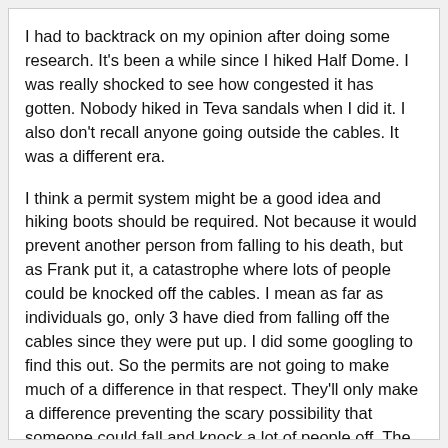I had to backtrack on my opinion after doing some research. It's been a while since I hiked Half Dome. I was really shocked to see how congested it has gotten. Nobody hiked in Teva sandals when I did it. I also don't recall anyone going outside the cables. It was a different era.
I think a permit system might be a good idea and hiking boots should be required. Not because it would prevent another person from falling to his death, but as Frank put it, a catastrophe where lots of people could be knocked off the cables. I mean as far as individuals go, only 3 have died from falling off the cables since they were put up. I did some googling to find this out. So the permits are not going to make much of a difference in that respect. They'll only make a difference preventing the scary possibility that someone could fall and knock a lot of people off. The two times I went up there weren't that many people so I didn't have to worry about that. But now, I'd be scared of some hotshot in Tevas dancing around the cables and then falling down on me...